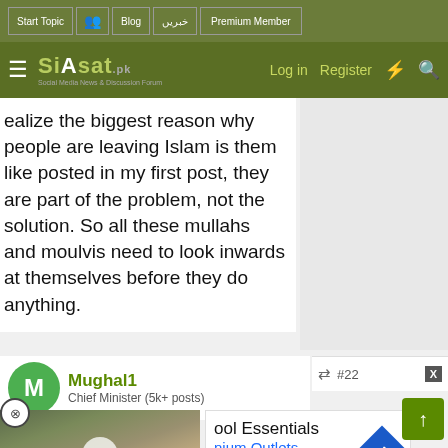Start Topic | Blog | خبریں | Premium Member | Log in | Register
[Figure (logo): Siasat.pk logo - Social Media News & Discussion Forum]
realize the biggest reason why people are leaving Islam is them like posted in my first post, they are part of the problem, not the solution. So all these mullahs and moulvis need to look inwards at themselves before they do anything.
Mughal1
Chief Minister (5k+ posts)
[Figure (photo): Video thumbnail showing military/police personnel walking dogs on leash outdoors]
#22
ool Essentials
nium Outlets